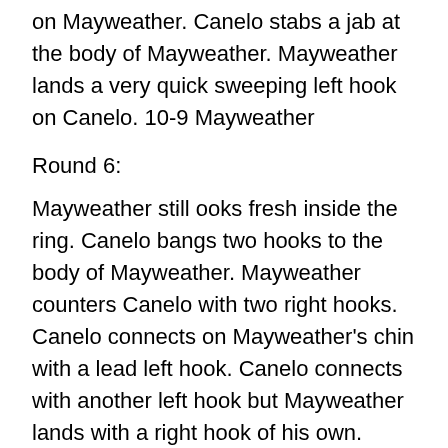on Mayweather. Canelo stabs a jab at the body of Mayweather. Mayweather lands a very quick sweeping left hook on Canelo. 10-9 Mayweather
Round 6:
Mayweather still ooks fresh inside the ring. Canelo bangs two hooks to the body of Mayweather. Mayweather counters Canelo with two right hooks. Canelo connects on Mayweather's chin with a lead left hook. Canelo connects with another left hook but Mayweather lands with a right hook of his own. Canelo lands a decent right cross on Mayweather. Canelo bangs another right hand to the body of Mayweather, and Mayweather answers with a straight right hand. Canelo lands a cunter left hand on Mayweathe near the end of the round. Closest round of the night. 10-9 Canelo.